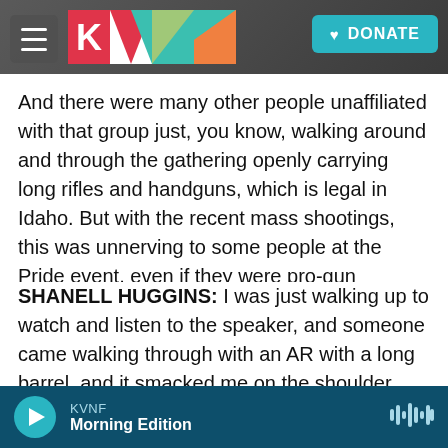[Figure (screenshot): KVNF radio website header with logo (colored geometric K, V, N, F letters), hamburger menu button, and teal DONATE button with heart icon, overlaid on a dark rocky background photo]
And there were many other people unaffiliated with that group just, you know, walking around and through the gathering openly carrying long rifles and handguns, which is legal in Idaho. But with the recent mass shootings, this was unnerving to some people at the Pride event, even if they were pro-gun Idahoans. Here's Shanell Huggins.
SHANELL HUGGINS: I was just walking up to watch and listen to the speaker, and someone came walking through with an AR with a long barrel, and it smacked me on the shoulder, and I just had a panic attack. But thankfully, they had mental health
KVNF Morning Edition